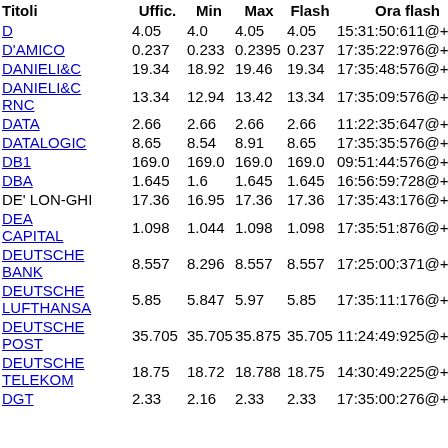| Titoli | Uffic. | Min | Max | Flash | Ora flash | % |
| --- | --- | --- | --- | --- | --- | --- |
| D | 4.05 | 4.0 | 4.05 | 4.05 | 15:31:50:611@+120 | 0 |
| D'AMICO | 0.237 | 0.233 | 0.2395 | 0.237 | 17:35:22:976@+120 | 1 |
| DANIELI&C | 19.34 | 18.92 | 19.46 | 19.34 | 17:35:48:576@+120 | 1 |
| DANIELI&C RNC | 13.34 | 12.94 | 13.42 | 13.34 | 17:35:09:576@+120 | 2 |
| DATA | 2.66 | 2.66 | 2.66 | 2.66 | 11:22:35:647@+120 | 0 |
| DATALOGIC | 8.65 | 8.54 | 8.91 | 8.65 | 17:35:35:576@+120 | - |
| DB1 | 169.0 | 169.0 | 169.0 | 169.0 | 09:51:44:576@+120 | -2 |
| DBA | 1.645 | 1.6 | 1.645 | 1.645 | 16:56:59:728@+120 | -0 |
| DE' LON-GHI | 17.36 | 16.95 | 17.36 | 17.36 | 17:35:43:176@+120 | 1 |
| DEA CAPITAL | 1.098 | 1.044 | 1.098 | 1.098 | 17:35:51:876@+120 | 1 |
| DEUTSCHE BANK | 8.557 | 8.296 | 8.557 | 8.557 | 17:25:00:371@+120 | 5 |
| DEUTSCHE LUFTHANSA | 5.85 | 5.847 | 5.97 | 5.85 | 17:35:11:176@+120 | 1 |
| DEUTSCHE POST | 35.705 | 35.705 | 35.875 | 35.705 | 11:24:49:925@+120 | -0 |
| DEUTSCHE TELEKOM | 18.75 | 18.72 | 18.788 | 18.75 | 14:30:49:225@+120 | 0 |
| DGT | 2.33 | 2.16 | 2.33 | 2.33 | 17:35:00:276@+120 | 2 |